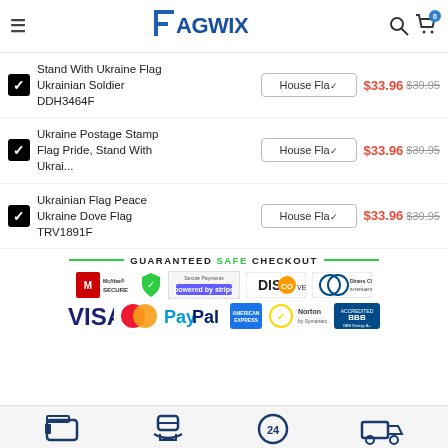FLAGWIX
Stand With Ukraine Flag Ukrainian Soldier DDH3464F — House Flag — $33.96  $39.95
Ukraine Postage Stamp Flag Pride, Stand With Ukrai... — House Flag — $33.96  $39.95
Ukrainian Flag Peace Ukraine Dove Flag TRV1891F — House Flag — $33.96  $39.95
[Figure (infographic): Guaranteed Safe Checkout section with payment logos: McAfee Secure, Secure Payments Powered by Stripe, Discover, Diners Club International, VISA, MasterCard, PayPal, American Express, Norton by Symantec, BBB Accredited Business A+]
[Figure (infographic): Footer icons row: wallet, hand with card, 24h clock, fast delivery truck]